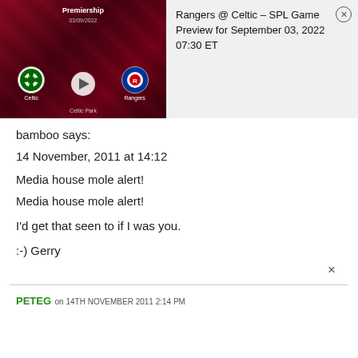[Figure (screenshot): Sports game preview thumbnail showing Celtic vs Rangers Premiership match at Celtic Park, September 2022, with play button overlay]
Rangers @ Celtic – SPL Game Preview for September 03, 2022 07:30 ET
bamboo says:
14 November, 2011 at 14:12
Media house mole alert!
Media house mole alert!
I'd get that seen to if I was you.
:-) Gerry
×
PETEG on 14TH NOVEMBER 2011 2:14 PM